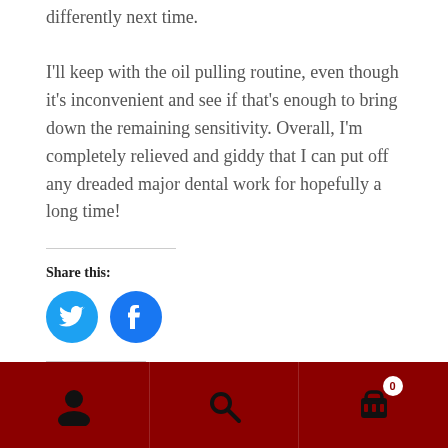differently next time.
I'll keep with the oil pulling routine, even though it's inconvenient and see if that's enough to bring down the remaining sensitivity. Overall, I'm completely relieved and giddy that I can put off any dreaded major dental work for hopefully a long time!
Share this:
[Figure (illustration): Twitter and Facebook circular social share buttons in blue]
Related
Simple Substitutions
Chocolate Chili So Good Your
[Figure (illustration): Dark red bottom navigation bar with user account icon, search icon, and shopping cart icon with badge showing 0]